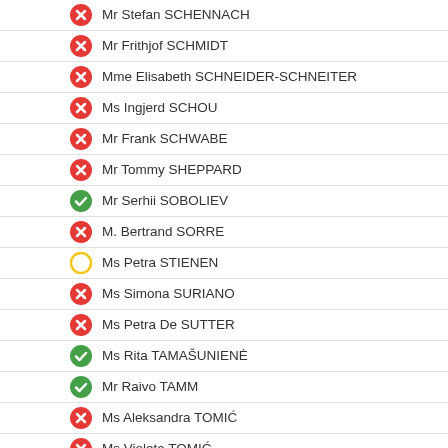Mr Stefan SCHENNACH
Mr Frithjof SCHMIDT
Mme Elisabeth SCHNEIDER-SCHNEITER
Ms Ingjerd SCHOU
Mr Frank SCHWABE
Mr Tommy SHEPPARD
Mr Serhii SOBOLIEV
M. Bertrand SORRE
Ms Petra STIENEN
Ms Simona SURIANO
Ms Petra De SUTTER
Ms Rita TAMAŠUNIENĖ
Mr Raivo TAMM
Ms Aleksandra TOMIĆ
Ms Violeta TOMIĆ
M. Manuel TORNARE
Lord Don TOUHIG